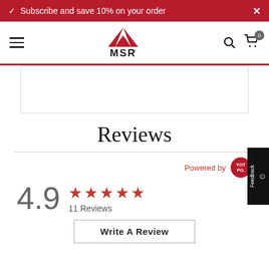Subscribe and save 10% on your order
[Figure (logo): MSR (Mountain Safety Research) logo with red mountain peaks above bold MSR text]
Reviews
Powered by YOTPO
4.9 ★★★★★ 11 Reviews
Write A Review